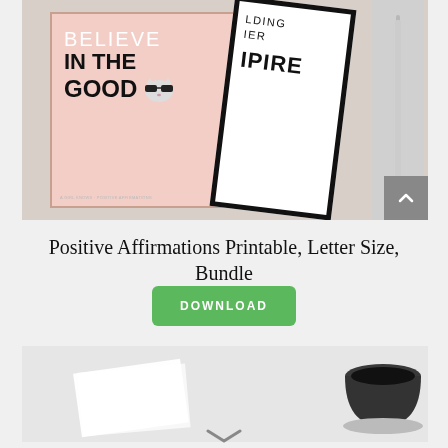[Figure (photo): Printable positive affirmations cards mockup showing a pink card with 'BELIEVE IN THE GOOD' text and a cat with sunglasses illustration, overlapping with a white card with bold text, and a pen on the right side]
Positive Affirmations Printable, Letter Size, Bundle
[Figure (other): Green DOWNLOAD button]
[Figure (photo): Bottom partial image showing a coffee cup and paper on a light gray background]